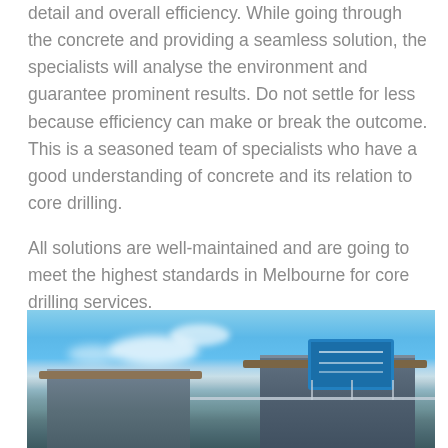detail and overall efficiency. While going through the concrete and providing a seamless solution, the specialists will analyse the environment and guarantee prominent results. Do not settle for less because efficiency can make or break the outcome. This is a seasoned team of specialists who have a good understanding of concrete and its relation to core drilling.

All solutions are well-maintained and are going to meet the highest standards in Melbourne for core drilling services.
[Figure (photo): Exterior photograph of a modern commercial building with blue sky and clouds in the background. The building features wooden canopy structures, a blue illuminated sign/billboard, and glass railing elements.]